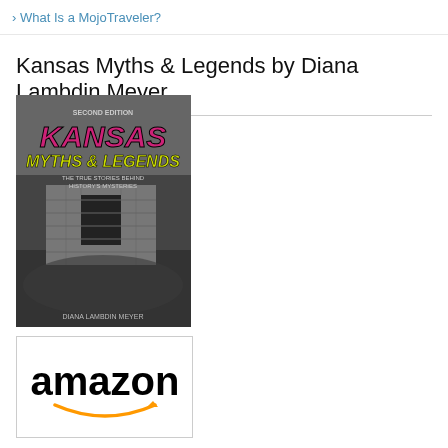What Is a MojoTraveler?
Kansas Myths & Legends by Diana Lambdin Meyer
[Figure (photo): Book cover of Kansas Myths & Legends, Second Edition, by Diana Lambdin Meyer. Shows stylized text 'KANSAS MYTHS & LEGENDS' in pink/magenta and yellow over a black and white photograph of a ruined stone building on a prairie with swirling grass.]
[Figure (logo): Amazon logo with black 'amazon' text and orange arrow smile beneath it, inside a bordered box.]